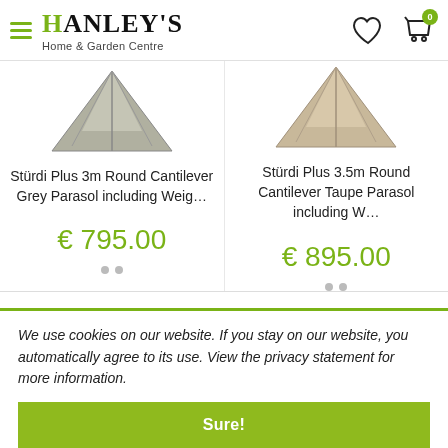HANLEY'S Home & Garden Centre
[Figure (photo): Partial view of grey cantilever parasol top]
Stürdi Plus 3m Round Cantilever Grey Parasol including Weig…
€ 795.00
[Figure (photo): Partial view of taupe cantilever parasol top]
Stürdi Plus 3.5m Round Cantilever Taupe Parasol including W…
€ 895.00
We use cookies on our website. If you stay on our website, you automatically agree to its use. View the privacy statement for more information.
Sure!